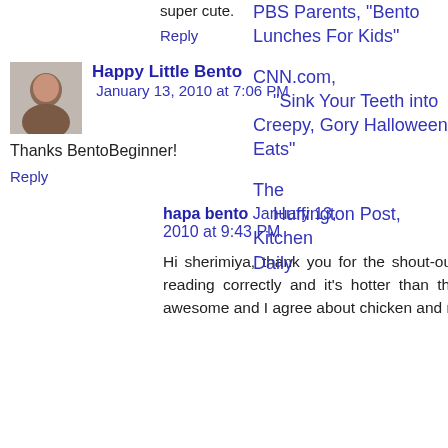super cute.
Reply
[Figure (photo): Avatar photo of Happy Little Bento commenter]
Happy Little Bento January 13, 2010 at 7:06 PM
Thanks BentoBeginner!
Reply
hapa bento January 13, 2010 at 9:43 PM
Hi sherimiya, thank you for the shout-out! I wonder if my toaster oven dial isn't reading correctly and it's hotter than the indicator? In anycase, your bento is awesome and I agree about chicken and rice. It's perfect.
PBS Parents, "Bento Lunches For Kids"
CNN.com, "Sink Your Teeth into Creepy, Gory Halloween Eats"
The Huffington Post, Kitchen Daily